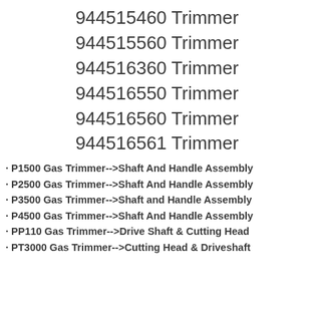944515460 Trimmer
944515560 Trimmer
944516360 Trimmer
944516550 Trimmer
944516560 Trimmer
944516561 Trimmer
· P1500 Gas Trimmer-->Shaft And Handle Assembly
· P2500 Gas Trimmer-->Shaft And Handle Assembly
· P3500 Gas Trimmer-->Shaft and Handle Assembly
· P4500 Gas Trimmer-->Shaft And Handle Assembly
· PP110 Gas Trimmer-->Drive Shaft & Cutting Head
· PT3000 Gas Trimmer-->Cutting Head & Driveshaft